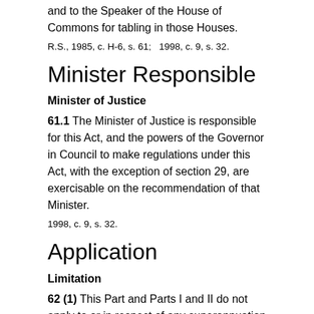and to the Speaker of the House of Commons for tabling in those Houses.
R.S., 1985, c. H-6, s. 61;   1998, c. 9, s. 32.
Minister Responsible
Minister of Justice
61.1 The Minister of Justice is responsible for this Act, and the powers of the Governor in Council to make regulations under this Act, with the exception of section 29, are exercisable on the recommendation of that Minister.
1998, c. 9, s. 32.
Application
Limitation
62 (1) This Part and Parts I and II do not apply to or in respect of any superannuation or pension fund or plan established by an Act of Parliament enacted